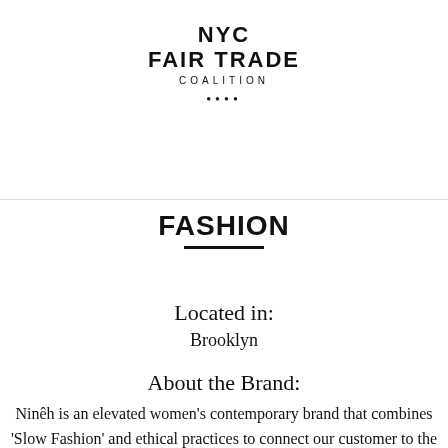NYC FAIR TRADE COALITION ····
FASHION
Located in:
Brooklyn
About the Brand:
Ninêh is an elevated women's contemporary brand that combines 'Slow Fashion' and ethical practices to connect our customer to the maker. Our clothes are timeless and